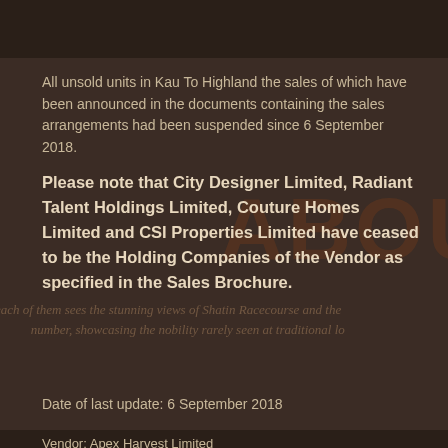All unsold units in Kau To Highland the sales of which have been announced in the documents containing the sales arrangements had been suspended since 6 September 2018.
Please note that City Designer Limited, Radiant Talent Holdings Limited, Couture Homes Limited and CSI Properties Limited have ceased to be the Holding Companies of the Vendor as specified in the Sales Brochure.
Date of last update: 6 September 2018
Vendor: Apex Harvest Limited
Holding Company of the Vendor: City Designer Limited, Dynamic Advantage Limited, Radiant Talent Holdings Limited,